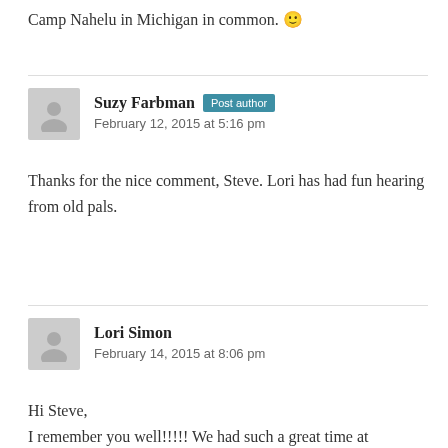Camp Nahelu in Michigan in common. 🙂
Suzy Farbman
February 12, 2015 at 5:16 pm
Thanks for the nice comment, Steve. Lori has had fun hearing from old pals.
Lori Simon
February 14, 2015 at 8:06 pm
Hi Steve,
I remember you well!!!!! We had such a great time at Nahelu...